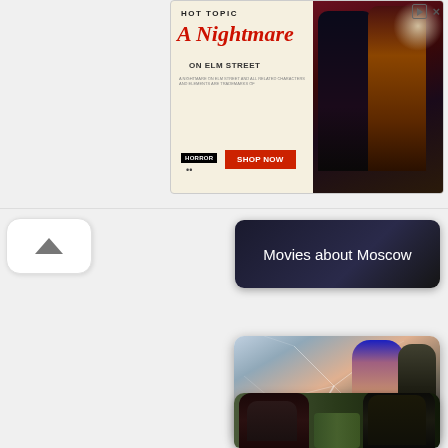[Figure (screenshot): Hot Topic advertisement banner for A Nightmare on Elm Street merchandise with 'SHOP NOW' button and photo of two people in horror-themed clothing]
[Figure (screenshot): Movies about Moscow category card with dark background and white text]
[Figure (screenshot): Popular movies category card showing two figures leaning against cracked ice/glass background]
[Figure (screenshot): Partially visible movie card showing two people in a car, likely Get Out or similar thriller]